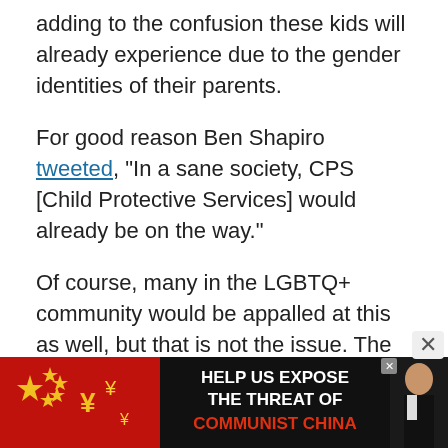adding to the confusion these kids will already experience due to the gender identities of their parents.
For good reason Ben Shapiro tweeted, “In a sane society, CPS [Child Protective Services] would already be on the way.”
Of course, many in the LGBTQ+ community would be appalled at this as well, but that is not the issue. The issue is trajectory, and the fact is that it was the Washington Post – not even the Advocate or the Village Voice – that published this perverse editorial.
[Figure (screenshot): Advertisement banner: 'HELP US EXPOSE THE THREAT OF COMMUNIST CHINA' with Chinese flag imagery and a person in suit on right side, with a close (X) button above it.]